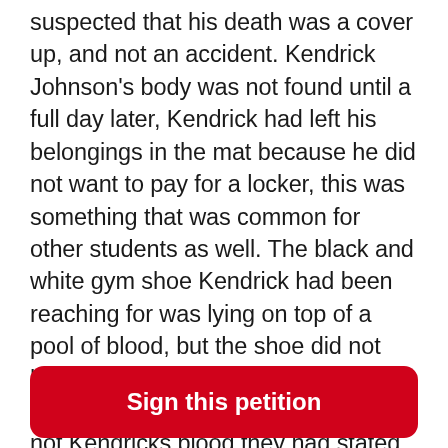suspected that his death was a cover up, and not an accident. Kendrick Johnson's body was not found until a full day later, Kendrick had left his belongings in the mat because he did not want to pay for a locker, this was something that was common for other students as well. The black and white gym shoe Kendrick had been reaching for was lying on top of a pool of blood, but the shoe did not have any blood on itself. The blood was tested by investigators and was not Kendricks blood they had stated that the blood had been there for a while, there was also traces of blood by the wall near by. The death was not an accident, a private pathologist was hired to carry out a second autopsy, Kendrick suffered a hemorrhaging on the right side of his neck, this would indicate he had died from blunt force trauma. This was a brief summary of the Kendrick Johnson case, with all that is going on
Sign this petition